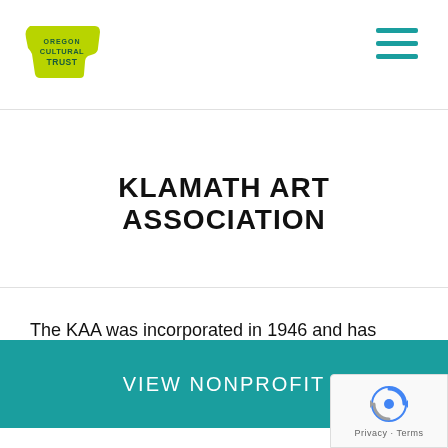[Figure (logo): Oregon Cultural Trust logo — yellow-green shape with 'CULTURAL TRUST' text]
[Figure (other): Hamburger menu icon — three teal horizontal lines]
KLAMATH ART ASSOCIATION
The KAA was incorporated in 1946 and has operated continuously since that time. The current Gallery was built in 1960. Members include painters and artists in, textiles, jewelry,...
VIEW NONPROFIT
[Figure (logo): Google reCAPTCHA badge with spinning arrows icon and 'Privacy · Terms' text]